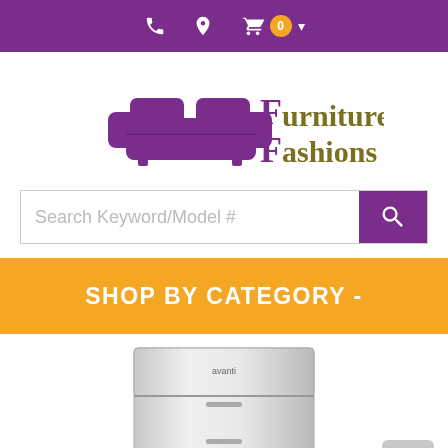Top navigation bar with phone, location, cart (0) icons
[Figure (logo): Furniture Fashions logo: purple sofa icon with 'Furniture Fashions' text in olive/brown serif font]
[Figure (screenshot): Search bar with placeholder text 'Search Keyword/Model #' and purple search button]
SHOP BY CATEGORY -
[Figure (photo): Photo of a silver/stainless steel compact refrigerator (Avanti brand) on white background]